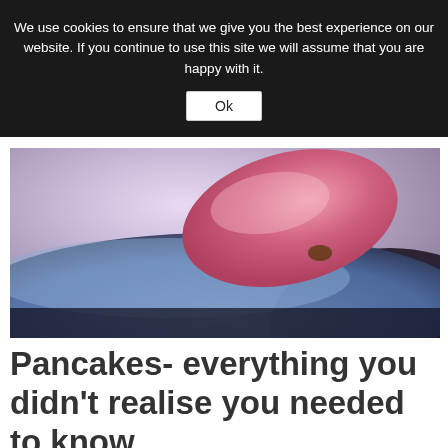We use cookies to ensure that we give you the best experience on our website. If you continue to use this site we will assume that you are happy with it.
Ok
[Figure (photo): Close-up photo of a pink flower petal resting on a dark blue curved surface, likely a plate or bowl, with a blurred purple/white background.]
Pancakes- everything you didn't realise you needed to know
February 12, 2013